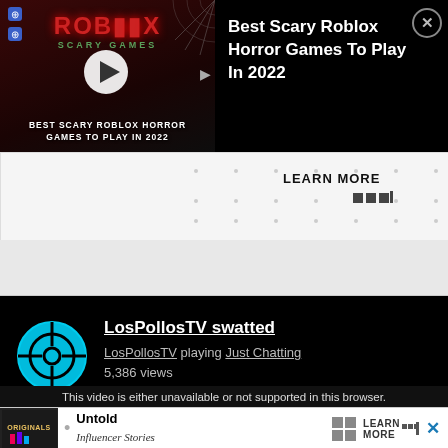[Figure (screenshot): Roblox Scary Games video thumbnail with red dark background and play button, titled BEST SCARY ROBLOX HORROR GAMES TO PLAY IN 2022]
Best Scary Roblox Horror Games To Play In 2022
LEARN MORE
[Figure (screenshot): Twitch stream card for LosPollosTV swatted, showing channel icon (cyan crosshair circle), stream title, LosPollosTV playing Just Chatting, 5,386 views]
LosPollosTV swatted
LosPollosTV playing Just Chatting
5,386 views
This video is either unavailable or not supported in this browser.
[Figure (screenshot): Bottom advertisement banner with Originals logo, Untold Influencer Stories text, LEARN MORE button, and X close button]